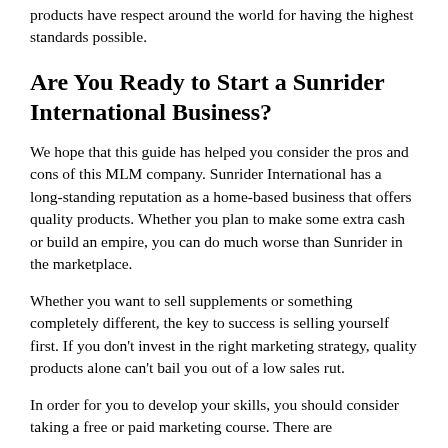products have respect around the world for having the highest standards possible.
Are You Ready to Start a Sunrider International Business?
We hope that this guide has helped you consider the pros and cons of this MLM company. Sunrider International has a long-standing reputation as a home-based business that offers quality products. Whether you plan to make some extra cash or build an empire, you can do much worse than Sunrider in the marketplace.
Whether you want to sell supplements or something completely different, the key to success is selling yourself first. If you don't invest in the right marketing strategy, quality products alone can't bail you out of a low sales rut.
In order for you to develop your skills, you should consider taking a free or paid marketing course. There are